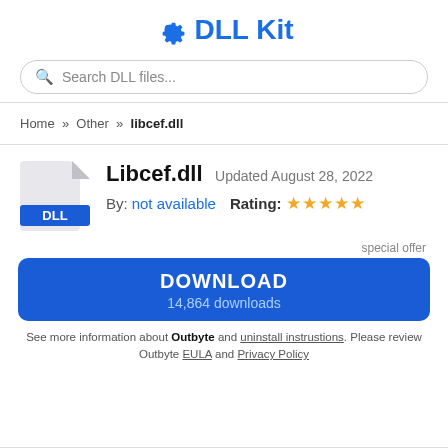DLL Kit
Search DLL files...
Home » Other » libcef.dll
Libcef.dll Updated August 28, 2022
By: not available  Rating: ★★★★★
special offer
DOWNLOAD
14,864 downloads
See more information about Outbyte and uninstall instrustions. Please review Outbyte EULA and Privacy Policy